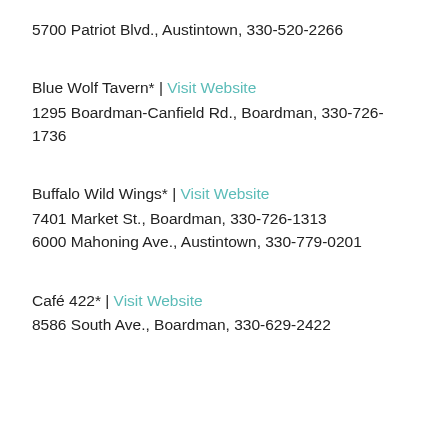5700 Patriot Blvd., Austintown, 330-520-2266
Blue Wolf Tavern* | Visit Website
1295 Boardman-Canfield Rd., Boardman, 330-726-1736
Buffalo Wild Wings* | Visit Website
7401 Market St., Boardman, 330-726-1313
6000 Mahoning Ave., Austintown, 330-779-0201
Café 422* | Visit Website
8586 South Ave., Boardman, 330-629-2422